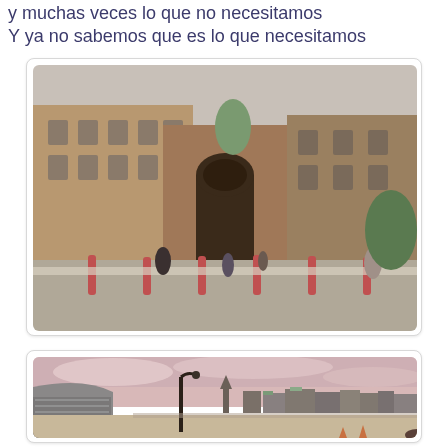y muchas veces lo que no necesitamos
Y ya no sabemos que es lo que necesitamos
[Figure (photo): Photograph of a grand historic stone building with an arched gateway entrance. People are visible near the entrance and bollards line the path. Overcast sky above.]
[Figure (photo): Photograph of a city waterfront plaza with a street lamp in the center, a curved modern building on the left, church spires and historic buildings along the skyline, under a pink-tinted cloudy sky.]